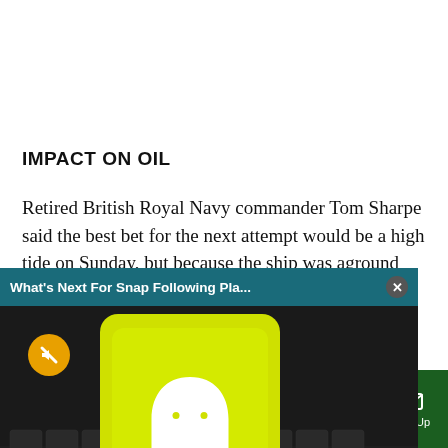IMPACT ON OIL
Retired British Royal Navy commander Tom Sharpe said the best bet for the next attempt would be a high tide on Sunday, but because the ship was aground ...sk the hull could ...d.
[Figure (screenshot): Video popup overlay showing 'What's Next For Snap Following Pla...' with a close button, and thumbnail of a Snapchat phone on a keyboard with a mute button visible]
...idential adviser on ..., told MBC Misr TV a ...transfer some of the ...r ship to lighten the
Sections | NY Edition | Philly | Games | Advertise | Sign Up